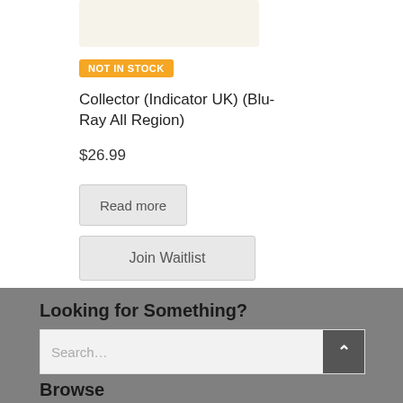[Figure (photo): Partial product image cropped at top]
NOT IN STOCK
Collector (Indicator UK) (Blu-Ray All Region)
$26.99
Read more
Join Waitlist
Looking for Something?
Search...
Browse